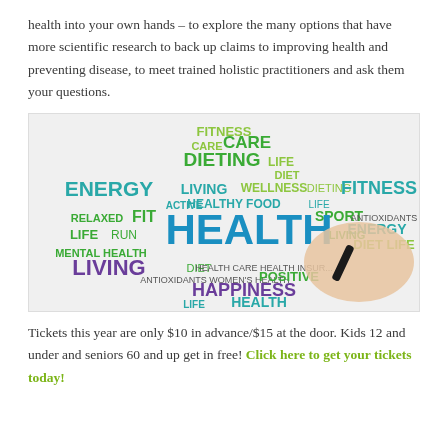health into your own hands – to explore the many options that have more scientific research to back up claims to improving health and preventing disease, to meet trained holistic practitioners and ask them your questions.
[Figure (illustration): Health and wellness word cloud image showing terms like HEALTH, ENERGY, FITNESS, DIETING, CARE, LIVING, WELLNESS, HAPPINESS, LEISURE, LIFESTYLE in various colors (blue, green, purple, teal), with a hand holding a black pen/marker pointing at the words.]
Tickets this year are only $10 in advance/$15 at the door. Kids 12 and under and seniors 60 and up get in free! Click here to get your tickets today!